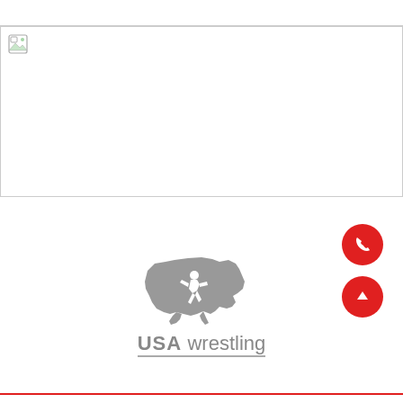[Figure (photo): Large white/blank image area with a broken image icon in the top-left corner, bordered by a thin gray rectangle.]
[Figure (logo): USA Wrestling logo: gray silhouette of the United States map with a wrestling figure overlaid, and 'USA wrestling' text below in gray with an underline.]
[Figure (infographic): Two red circular FAB buttons on the right side: a phone icon button and an upward arrow icon button.]